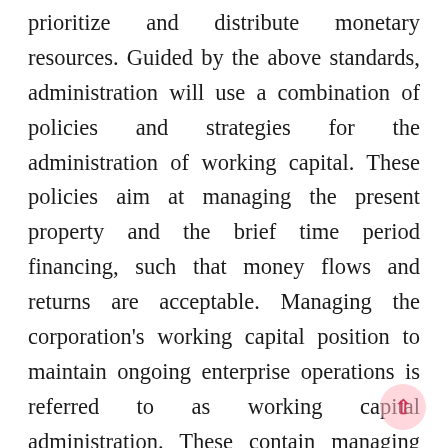prioritize and distribute monetary resources. Guided by the above standards, administration will use a combination of policies and strategies for the administration of working capital. These policies aim at managing the present property and the brief time period financing, such that money flows and returns are acceptable. Managing the corporation's working capital position to maintain ongoing enterprise operations is referred to as working capital administration. These contain managing the connection between a firm's quick-time period property and its brief-term liabilities.